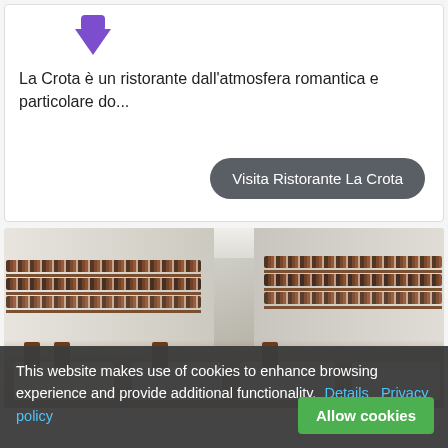La Crota è un ristorante dall'atmosfera romantica e particolare do...
Visita Ristorante La Crota
[Figure (photo): Interior of Ristorante La Crota showing white walls lined with wine bottle shelves, dark wooden ceiling beams, and white-clothed dining tables with wooden chairs in the foreground.]
This website makes use of cookies to enhance browsing experience and provide additional functionality.  Details  Privacy policy
Allow cookies